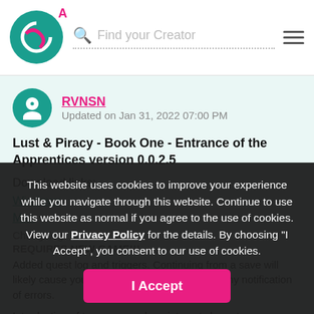Find your Creator
RVNSN
Updated on Jan 31, 2022 07:00 PM
Lust & Piracy - Book One - Entrance of the Apprentices version 0.0.2.5
Download links:
Windows
Mac
Changelog:
REQUIRES NEW GAME!!!
Added quest log and triggers. Continuing from a save will likely cause you to miss some things without any notification of errors.
Introduction of two new non-love-interest characters
This website uses cookies to improve your experience while you navigate through this website. Continue to use this website as normal if you agree to the use of cookies. View our Privacy Policy for the details. By choosing "I Accept", you consent to our use of cookies.
I Accept